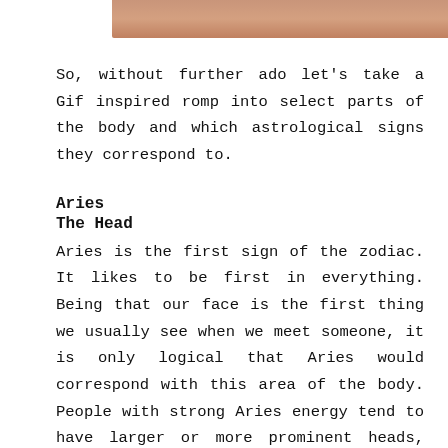[Figure (photo): Partial view of a person's skin/face area, cropped at top of page]
So, without further ado let's take a Gif inspired romp into select parts of the body and which astrological signs they correspond to.
Aries
The Head
Aries is the first sign of the zodiac. It likes to be first in everything. Being that our face is the first thing we usually see when we meet someone, it is only logical that Aries would correspond with this area of the body. People with strong Aries energy tend to have larger or more prominent heads, Its like you are